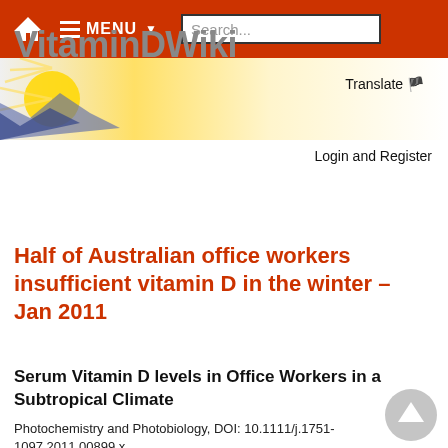[Figure (screenshot): Navigation bar with home icon, menu button, and search box on red background]
[Figure (illustration): Banner with sun rays and gradient background, Translate button with flag icon]
Login and Register
VitaminDWiki
Half of Australian office workers insufficient vitamin D in the winter – Jan 2011
Serum Vitamin D levels in Office Workers in a Subtropical Climate
Photochemistry and Photobiology, DOI: 10.1111/j.1751-1097.2011.00899.x